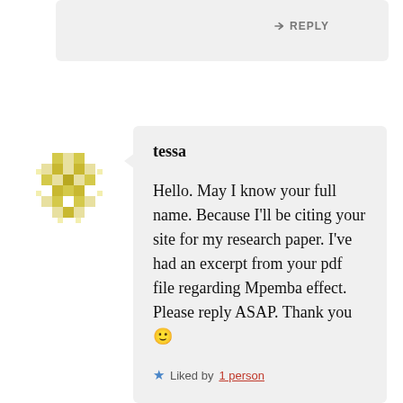↳ REPLY
[Figure (illustration): Yellow and white pixel/mosaic avatar icon for user tessa]
tessa
Hello. May I know your full name. Because I'll be citing your site for my research paper. I've had an excerpt from your pdf file regarding Mpemba effect. Please reply ASAP. Thank you 🙂
Liked by 1 person